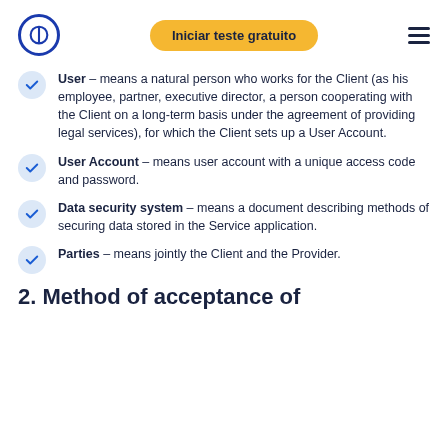Iniciar teste gratuito
User – means a natural person who works for the Client (as his employee, partner, executive director, a person cooperating with the Client on a long-term basis under the agreement of providing legal services), for which the Client sets up a User Account.
User Account – means user account with a unique access code and password.
Data security system – means a document describing methods of securing data stored in the Service application.
Parties – means jointly the Client and the Provider.
2. Method of acceptance of